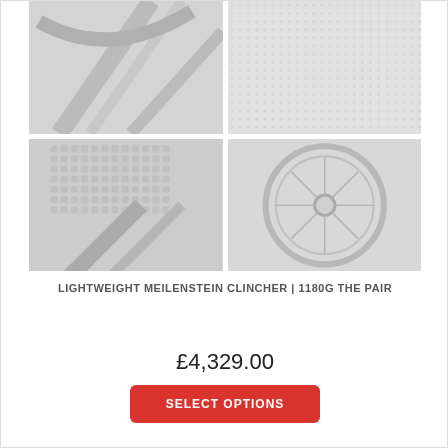[Figure (photo): 2x2 grid of product photos showing close-up details of a Meilenstein bicycle wheel: top-left shows handlebars/frame detail, top-right shows light grey texture/carbon surface, bottom-left shows close-up of textured grip and fork, bottom-right shows a wheel with spokes viewed from the side. All photos are low-contrast, light grey tones.]
LIGHTWEIGHT MEILENSTEIN CLINCHER | 1180G THE PAIR
£4,329.00
SELECT OPTIONS